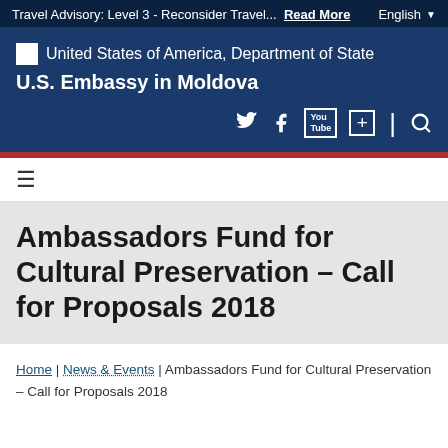Travel Advisory: Level 3 - Reconsider Travel...  Read More | English
[Figure (logo): United States of America, Department of State logo and U.S. Embassy in Moldova header with social media icons (Twitter, Facebook, YouTube, Google+, Search)]
Ambassadors Fund for Cultural Preservation – Call for Proposals 2018
Home | News & Events | Ambassadors Fund for Cultural Preservation – Call for Proposals 2018